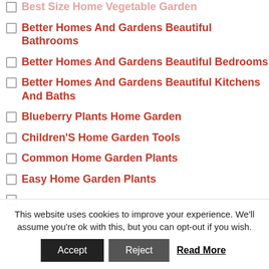Best Size Home Vegetable Garden
Better Homes And Gardens Beautiful Bathrooms
Better Homes And Gardens Beautiful Bedrooms
Better Homes And Gardens Beautiful Kitchens And Baths
Blueberry Plants Home Garden
Children'S Home Garden Tools
Common Home Garden Plants
Easy Home Garden Plants
...Home Garden...
This website uses cookies to improve your experience. We'll assume you're ok with this, but you can opt-out if you wish.
Accept | Reject | Read More